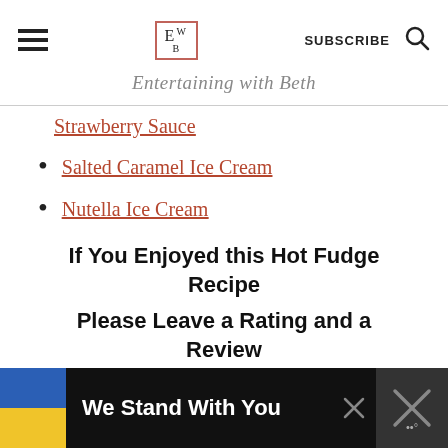Entertaining with Beth
Strawberry Sauce
Salted Caramel Ice Cream
Nutella Ice Cream
If You Enjoyed this Hot Fudge Recipe
Please Leave a Rating and a Review Below!
[Figure (other): Advertisement banner: Ukraine flag with text 'We Stand With You' on dark background with close button]